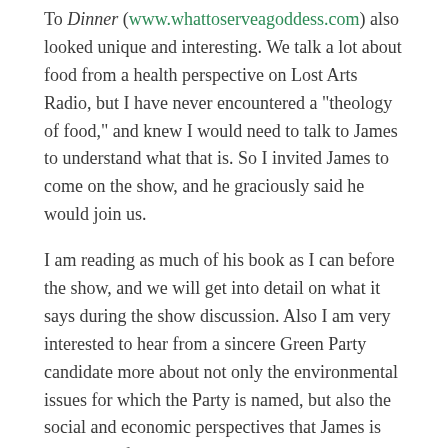To Dinner (www.whattoserveagoddess.com) also looked unique and interesting. We talk a lot about food from a health perspective on Lost Arts Radio, but I have never encountered a "theology of food," and knew I would need to talk to James to understand what that is. So I invited James to come on the show, and he graciously said he would join us.
I am reading as much of his book as I can before the show, and we will get into detail on what it says during the show discussion. Also I am very interested to hear from a sincere Green Party candidate more about not only the environmental issues for which the Party is named, but also the social and economic perspectives that James is promoting for America. Personally, I have been a strong environmental advocate for more than 50 years, but many of the social and economic policies of the Green Party conflict with what seems true to me. So this is a great opportunity to understand better what these